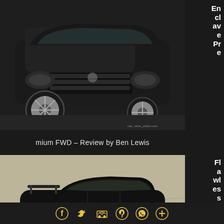[Figure (photo): Front view of a black luxury SUV (Buick Enclave) in a parking area, close-up of the front grille and wheel]
Enclave Premium FWD
mium FWD – Review by Ben Lewis
[Figure (photo): Side profile of a black 1994 Toyota Supra Twin-Turbo Targa with a rear wing, parked against a concrete wall, watermark CAR_REVS_DAILY]
Flawless 1994 Toyota ta
Supra Twin-Turbo Targa 6MT – RM Amelia 2019 Preview
Social sharing icons: Facebook, Twitter, Email/Car, Pinterest, WhatsApp, Plus